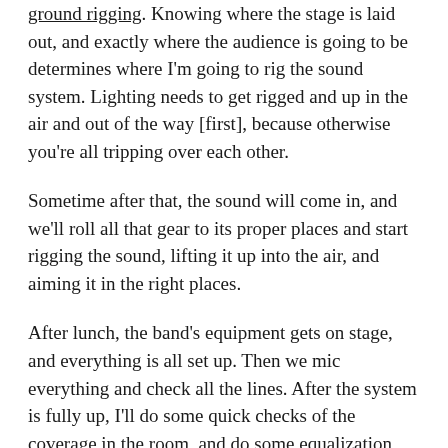ground rigging. Knowing where the stage is laid out, and exactly where the audience is going to be determines where I'm going to rig the sound system. Lighting needs to get rigged and up in the air and out of the way [first], because otherwise you're all tripping over each other.
Sometime after that, the sound will come in, and we'll roll all that gear to its proper places and start rigging the sound, lifting it up into the air, and aiming it in the right places.
After lunch, the band's equipment gets on stage, and everything is all set up. Then we mic everything and check all the lines. After the system is fully up, I'll do some quick checks of the coverage in the room, and do some equalization, play a little bit of music, a little bit of pink noise, test the abilities of the system and how it's